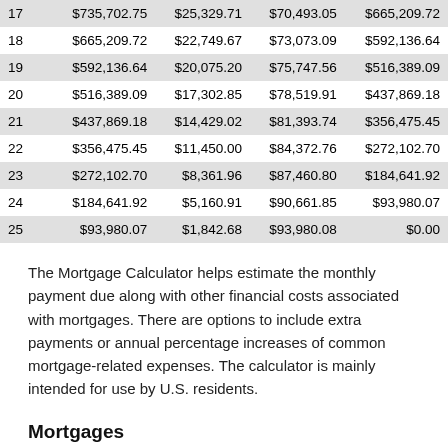| Year | Balance | Interest | Principal | End Balance |
| --- | --- | --- | --- | --- |
| 17 | $735,702.75 | $25,329.71 | $70,493.05 | $665,209.72 |
| 18 | $665,209.72 | $22,749.67 | $73,073.09 | $592,136.64 |
| 19 | $592,136.64 | $20,075.20 | $75,747.56 | $516,389.09 |
| 20 | $516,389.09 | $17,302.85 | $78,519.91 | $437,869.18 |
| 21 | $437,869.18 | $14,429.02 | $81,393.74 | $356,475.45 |
| 22 | $356,475.45 | $11,450.00 | $84,372.76 | $272,102.70 |
| 23 | $272,102.70 | $8,361.96 | $87,460.80 | $184,641.92 |
| 24 | $184,641.92 | $5,160.91 | $90,661.85 | $93,980.07 |
| 25 | $93,980.07 | $1,842.68 | $93,980.08 | $0.00 |
The Mortgage Calculator helps estimate the monthly payment due along with other financial costs associated with mortgages. There are options to include extra payments or annual percentage increases of common mortgage-related expenses. The calculator is mainly intended for use by U.S. residents.
Mortgages
A mortgage is a loan secured by property, usually real estate property. Lenders define it as the money borrowed to